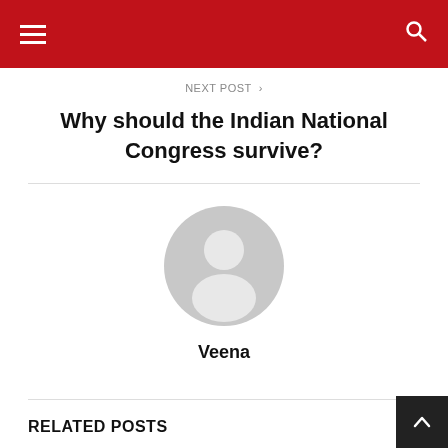NEXT POST >
Why should the Indian National Congress survive?
[Figure (illustration): Default user avatar — grey silhouette of a person in a circular frame]
Veena
RELATED POSTS
[Figure (photo): Related post thumbnail placeholder — light grey rectangle]